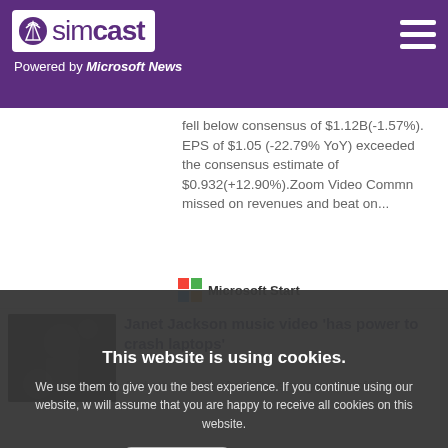[Figure (logo): Simcast logo with antenna tower icon on white background, purple header with hamburger menu]
Powered by Microsoft News
fell below consensus of $1.12B(-1.57%). EPS of $1.05 (-22.79% YoY) exceeded the consensus estimate of $0.932(+12.90%).Zoom Video Commn missed on revenues and beat on...
Microsoft Start
Janet Jackson music video 'has power to crash laptops'
And other stories from the stranger side of life At
This website is using cookies.
We use them to give you the best experience. If you continue using our website, we will assume that you are happy to receive all cookies on this website.
Continue
Learn more
The Week UK
[Figure (photo): Photo strip showing people including a figure resembling Donald Trump in the center]